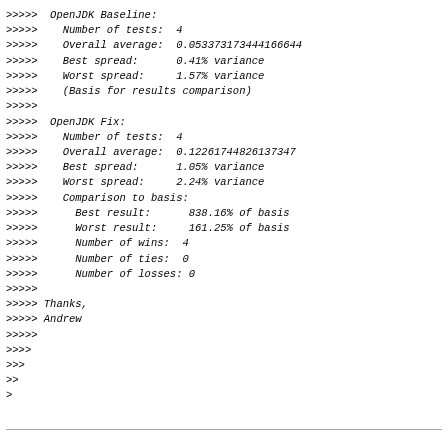>>>>> OpenJDK Baseline:
>>>>>   Number of tests:  4
>>>>>   Overall average:  0.053373173444166644
>>>>>   Best spread:      0.41% variance
>>>>>   Worst spread:     1.57% variance
>>>>>   (Basis for results comparison)
>>>>>
>>>>> OpenJDK Fix:
>>>>>   Number of tests:  4
>>>>>   Overall average:  0.12261744826137347
>>>>>   Best spread:      1.05% variance
>>>>>   Worst spread:     2.24% variance
>>>>>   Comparison to basis:
>>>>>     Best result:      838.16% of basis
>>>>>     Worst result:     161.25% of basis
>>>>>     Number of wins:  4
>>>>>     Number of ties:  0
>>>>>     Number of losses: 0
>>>>>
>>>>> Thanks,
>>>>> Andrew
>>>>>
>>>>
>>>
>>
>